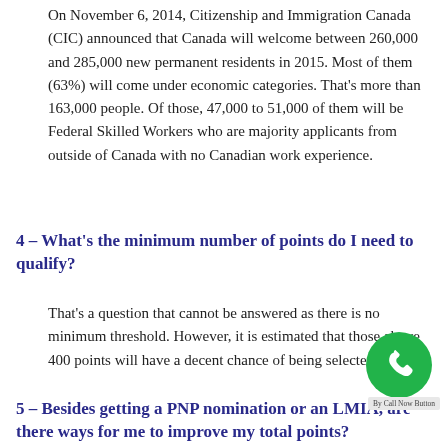On November 6, 2014, Citizenship and Immigration Canada (CIC) announced that Canada will welcome between 260,000 and 285,000 new permanent residents in 2015. Most of them (63%) will come under economic categories. That's more than 163,000 people. Of those, 47,000 to 51,000 of them will be Federal Skilled Workers who are majority applicants from outside of Canada with no Canadian work experience.
4 – What's the minimum number of points do I need to qualify?
That's a question that cannot be answered as there is no minimum threshold. However, it is estimated that those above 400 points will have a decent chance of being selected.
5 – Besides getting a PNP nomination or an LMIA, are there ways for me to improve my total points?